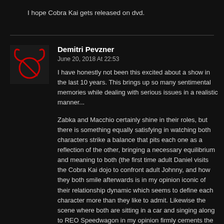I hope Cobra Kai gets released on dvd.
Demitri Pevzner
June 20, 2018 At 22:53
I have honestly not been this excited about a show in the last 10 years. This brings up so many sentimental memories while dealing with serious issues in a realistic manner...

Zabka and Macchio certainly shine in their roles, but there is something equally satisfying in watching both characters strike a balance that pits each one as a reflection of the other, bringing a necessary equilibrium and meaning to both (the first time adult Daniel visits the Cobra Kai dojo to confront adult Johnny, and how they both smile afterwards is in my opinion iconic of their relationship dynamic which seems to define each character more than they like to admit. Likewise the scene where both are sitting in a car and singing along to REO Speedwagon in my opinion firmly cements the